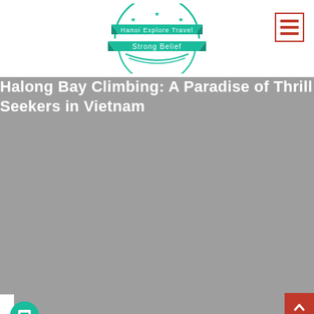[Figure (logo): Hanoi Explore Travel Strong Belief circular badge logo in teal/cyan color with stars and ribbon banners]
[Figure (other): Hamburger menu icon in red/crimson with three horizontal bars inside a red-bordered square]
[Figure (photo): Gray placeholder image for hero banner with title overlay]
Halong Bay Climbing: A Paradise of Thrill Seekers in Vietnam
[Figure (photo): Gray placeholder image for second content section]
[Figure (other): Teal circular chat/message button with chat icon]
[Figure (other): Red back-to-top button with upward chevron arrow]